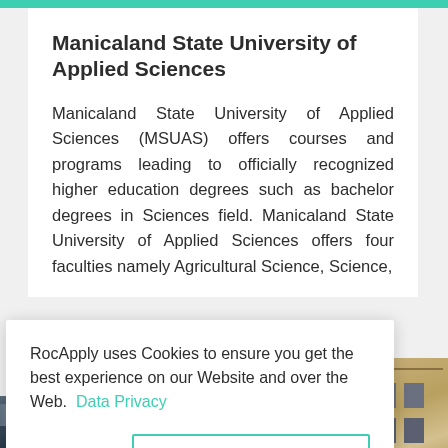Manicaland State University of Applied Sciences
Manicaland State University of Applied Sciences (MSUAS) offers courses and programs leading to officially recognized higher education degrees such as bachelor degrees in Sciences field. Manicaland State University of Applied Sciences offers four faculties namely Agricultural Science, Science,
RocApply uses Cookies to ensure you get the best experience on our Website and over the Web.  Data Privacy
Got it!    Alright!
[Figure (photo): Partial view of a building exterior visible at top right, and a crowd photo strip at the bottom of the page]